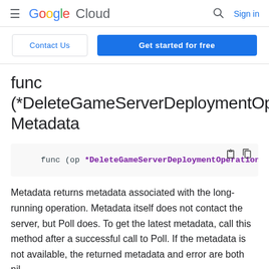≡ Google Cloud  🔍 Sign in
Contact Us | Get started for free
func (*DeleteGameServerDeploymentOperation) Metadata
[Figure (screenshot): Code block showing: func (op *DeleteGameServerDeploymentOperation) Me]
Metadata returns metadata associated with the long-running operation. Metadata itself does not contact the server, but Poll does. To get the latest metadata, call this method after a successful call to Poll. If the metadata is not available, the returned metadata and error are both nil.